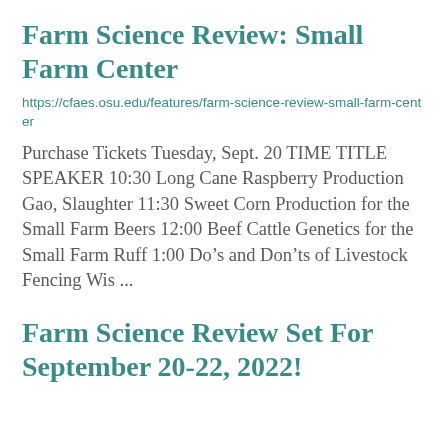Farm Science Review: Small Farm Center
https://cfaes.osu.edu/features/farm-science-review-small-farm-center
Purchase Tickets Tuesday, Sept. 20 TIME TITLE SPEAKER 10:30 Long Cane Raspberry Production Gao, Slaughter 11:30 Sweet Corn Production for the Small Farm Beers 12:00 Beef Cattle Genetics for the Small Farm Ruff 1:00 Do’s and Don’ts of Livestock Fencing Wis ...
Farm Science Review Set For September 20-22, 2022!